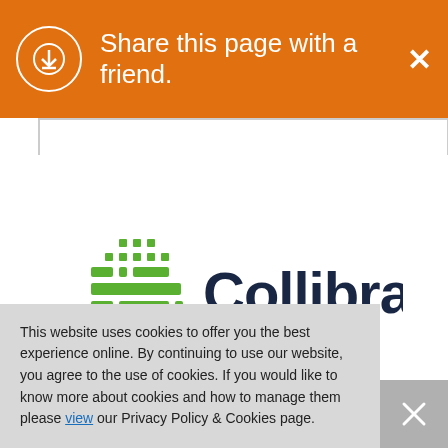Share this page with a friend.
[Figure (logo): Collibra company logo with green grid/cross icon and dark navy text 'Collibra']
[Figure (other): Blue share button on left side]
[Figure (other): Orange upward arrow/triangle icon partially visible]
This website uses cookies to offer you the best experience online. By continuing to use our website, you agree to the use of cookies. If you would like to know more about cookies and how to manage them please view our Privacy Policy & Cookies page.